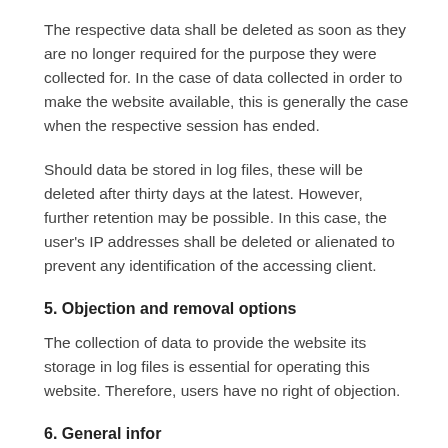The respective data shall be deleted as soon as they are no longer required for the purpose they were collected for. In the case of data collected in order to make the website available, this is generally the case when the respective session has ended.
Should data be stored in log files, these will be deleted after thirty days at the latest. However, further retention may be possible. In this case, the user's IP addresses shall be deleted or alienated to prevent any identification of the accessing client.
5. Objection and removal options
The collection of data to provide the website its storage in log files is essential for operating this website. Therefore, users have no right of objection.
6. General infor...